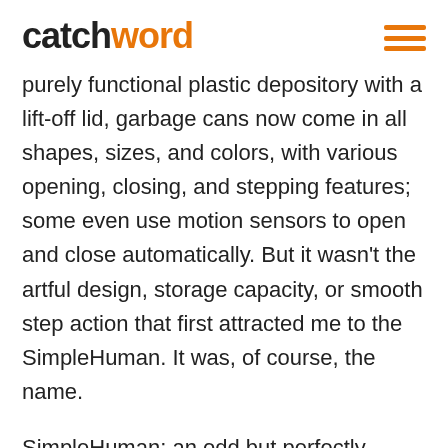catchword
purely functional plastic depository with a lift-off lid, garbage cans now come in all shapes, sizes, and colors, with various opening, closing, and stepping features; some even use motion sensors to open and close automatically. But it wasn't the artful design, storage capacity, or smooth step action that first attracted me to the SimpleHuman. It was, of course, the name.
SimpleHuman: an odd but perfectly compatible combination of words. Different people will have different associations, but I imagine most would agree that it suggests ease-of-use,